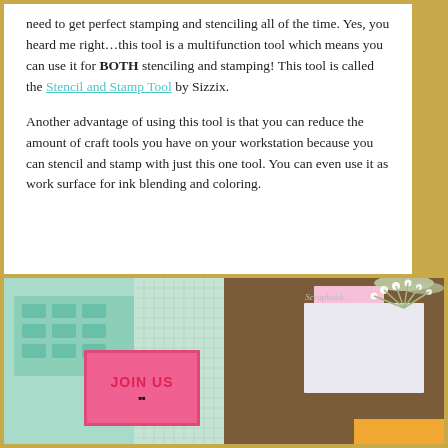need to get perfect stamping and stenciling all of the time. Yes, you heard me right...this tool is a multifunction tool which means you can use it for BOTH stenciling and stamping! This tool is called the Stencil and Stamp Tool by Sizzix.
Another advantage of using this tool is that you can reduce the amount of craft tools you have on your workstation because you can stencil and stamp with just this one tool. You can even use it as work surface for ink blending and coloring.
[Figure (photo): Photo showing crafting tools including a mint green stencil board, a grid sheet, pink and white cards with 'JOIN US' text, flowers, and scrapbooking materials on a wooden surface.]